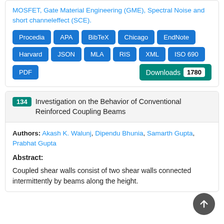MOSFET, Gate Material Engineering (GME), Spectral Noise and short channeleffect (SCE).
[Figure (other): Citation format buttons: Procedia, APA, BibTeX, Chicago, EndNote, Harvard, JSON, MLA, RIS, XML, ISO 690, PDF. Downloads badge showing 1780.]
134 Investigation on the Behavior of Conventional Reinforced Coupling Beams
Authors: Akash K. Walunj, Dipendu Bhunia, Samarth Gupta, Prabhat Gupta
Abstract:
Coupled shear walls consist of two shear walls connected intermittently by beams along the height.